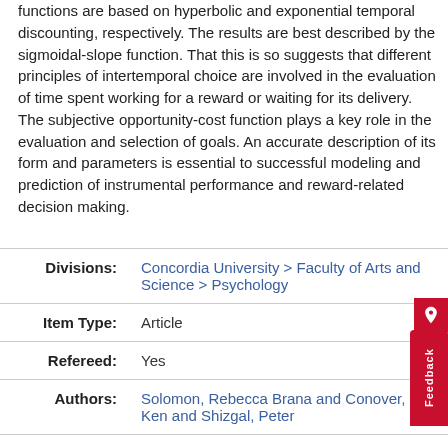functions are based on hyperbolic and exponential temporal discounting, respectively. The results are best described by the sigmoidal-slope function. That this is so suggests that different principles of intertemporal choice are involved in the evaluation of time spent working for a reward or waiting for its delivery. The subjective opportunity-cost function plays a key role in the evaluation and selection of goals. An accurate description of its form and parameters is essential to successful modeling and prediction of instrumental performance and reward-related decision making.
| Field | Value |
| --- | --- |
| Divisions: | Concordia University > Faculty of Arts and Science > Psychology |
| Item Type: | Article |
| Refereed: | Yes |
| Authors: | Solomon, Rebecca Brana and Conover, Ken and Shizgal, Peter |
| Journal or Publication: | PLOS ONE |